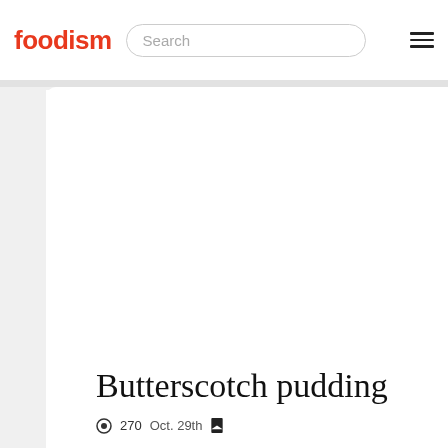foodism
[Figure (screenshot): Search bar with placeholder text 'Search' and hamburger menu icon on the right]
[Figure (photo): Large white/blank article image area for Butterscotch pudding article]
Butterscotch pudding
270  Oct. 29th